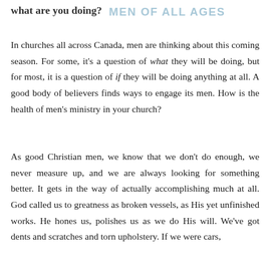GOD BUILDING MEN OF ALL AGES / what are you doing?
In churches all across Canada, men are thinking about this coming season. For some, it's a question of what they will be doing, but for most, it is a question of if they will be doing anything at all. A good body of believers finds ways to engage its men. How is the health of men's ministry in your church?
As good Christian men, we know that we don't do enough, we never measure up, and we are always looking for something better. It gets in the way of actually accomplishing much at all. God called us to greatness as broken vessels, as His yet unfinished works. He hones us, polishes us as we do His will. We've got dents and scratches and torn upholstery. If we were cars,